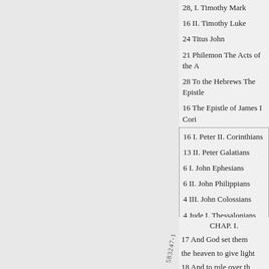28, I. Timothy Mark
16 II. Timothy Luke
24 Titus John
21 Philemon The Acts of the A
28 To the Hebrews The Epistle
16 The Epistle of James I Cori
16 I. Peter II. Corinthians
13 II. Peter Galatians
6 I. John Ephesians
6 II. John Philippians
4 III. John Colossians
4 Jude I. Thessalonians
5 Revelation JI. Thessalonian
CHAP. I.
17 And God set them
the heaven to give light
18 And to rule over th
to divide the light from t